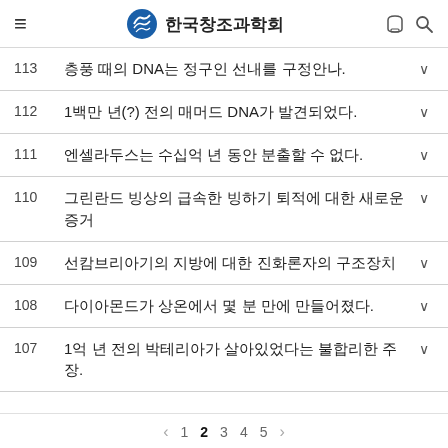한국창조과학회
113  층풍 때의 DNA는 정구인 선내를 구정안나.
112  1백만 년(?) 전의 매머드 DNA가 발견되었다.
111  엔셀라두스는 수십억 년 동안 분출할 수 없다.
110  그린란드 빙상의 급속한 빙하기 퇴적에 대한 새로운 증거
109  선캄브리아기의 지방에 대한 진화론자의 구조장치
108  다이아몬드가 상온에서 몇 분 만에 만들어졌다.
107  1억 년 전의 박테리아가 살아있었다는 불합리한 주장.
< 1  2  3  4  5  >